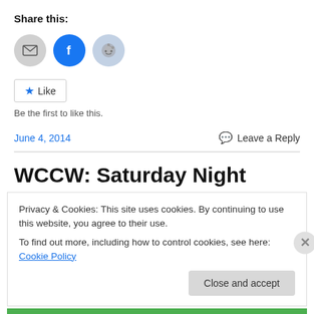Share this:
[Figure (infographic): Three share icons: email (grey circle), Facebook (blue circle with white f), Reddit (light blue circle with Reddit alien mascot)]
Like  Be the first to like this.
June 4, 2014
Leave a Reply
WCCW: Saturday Night
Privacy & Cookies: This site uses cookies. By continuing to use this website, you agree to their use.
To find out more, including how to control cookies, see here: Cookie Policy
Close and accept